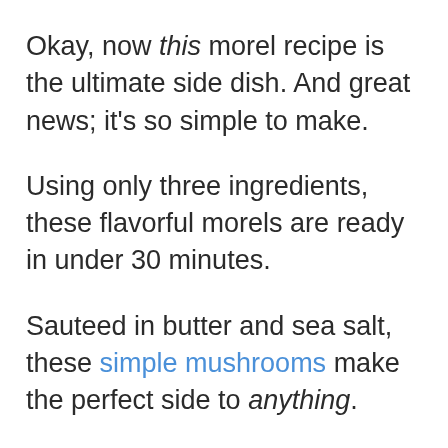Okay, now this morel recipe is the ultimate side dish. And great news; it's so simple to make.
Using only three ingredients, these flavorful morels are ready in under 30 minutes.
Sauteed in butter and sea salt, these simple mushrooms make the perfect side to anything.
Serve them with lasagna, chicken, or even